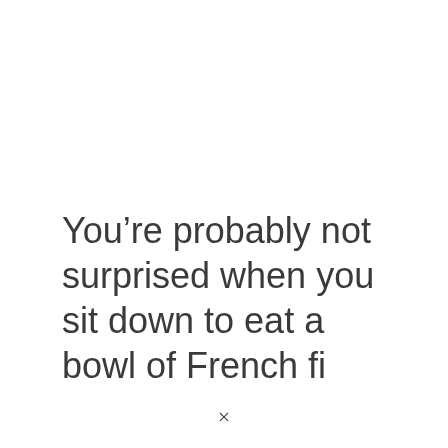You’re probably not surprised when you sit down to eat a bowl of French fi…
×